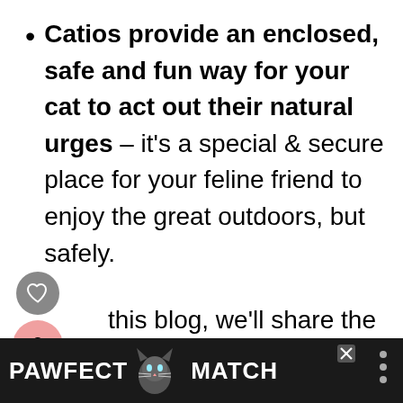Catios provide an enclosed, safe and fun way for your cat to act out their natural urges – it's a special & secure place for your feline friend to enjoy the great outdoors, but safely.
this blog, we'll share the lowdown on some of the coolest catio designs
[Figure (other): Social interaction bar with heart icon button (grey circle), share count '2' and share icon on a pink rounded blob shape]
[Figure (other): Advertisement banner at bottom: dark background with 'PAWFECT MATCH' text and a cat illustration, with close/X buttons]